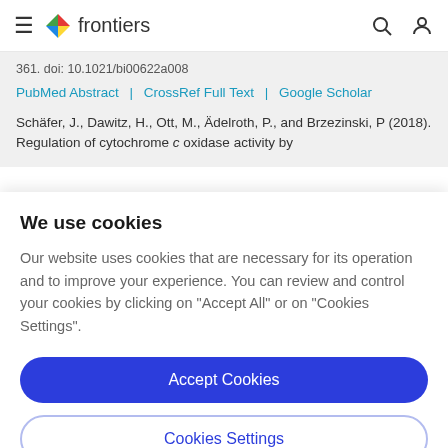frontiers
361. doi: 10.1021/bi00622a008
PubMed Abstract | CrossRef Full Text | Google Scholar
Schäfer, J., Dawitz, H., Ott, M., Ädelroth, P., and Brzezinski, P (2018). Regulation of cytochrome c oxidase activity by
We use cookies
Our website uses cookies that are necessary for its operation and to improve your experience. You can review and control your cookies by clicking on "Accept All" or on "Cookies Settings".
Accept Cookies
Cookies Settings